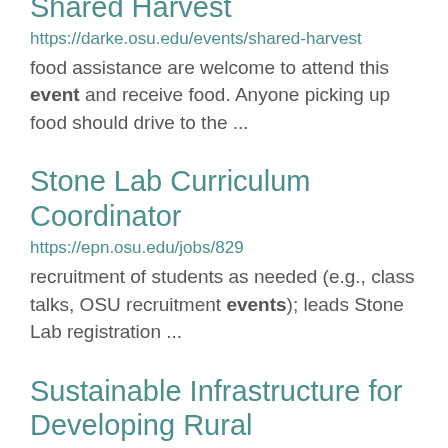Shared Harvest
https://darke.osu.edu/events/shared-harvest
food assistance are welcome to attend this event and receive food. Anyone picking up food should drive to the ...
Stone Lab Curriculum Coordinator
https://epn.osu.edu/jobs/829
recruitment of students as needed (e.g., class talks, OSU recruitment events); leads Stone Lab registration ...
Sustainable Infrastructure for Developing Rural Communities
https://fabe.osu.edu/courses/fabeng-526001